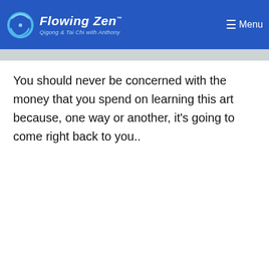Flowing Zen — Qigong & Tai Chi with Anthony | Menu
You should never be concerned with the money that you spend on learning this art because, one way or another, it's going to come right back to you..